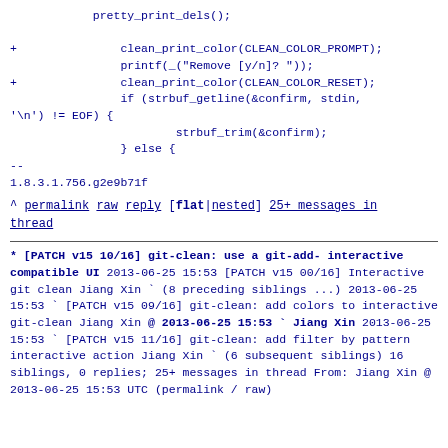pretty_print_dels();
+               clean_print_color(CLEAN_COLOR_PROMPT);
                printf(_("Remove [y/n]? "));
+               clean_print_color(CLEAN_COLOR_RESET);
                if (strbuf_getline(&confirm, stdin,
'\n') != EOF) {
                        strbuf_trim(&confirm);
                } else {
--
1.8.3.1.756.g2e9b71f
^ permalink raw reply  [flat|nested] 25+ messages in thread
* [PATCH v15 10/16] git-clean: use a git-add-interactive compatible UI
   2013-06-25 15:53 [PATCH v15 00/16] Interactive git clean Jiang Xin
                    ` (8 preceding siblings ...)
   2013-06-25 15:53 ` [PATCH v15 09/16] git-clean: add colors to interactive git-clean Jiang Xin
@ 2013-06-25 15:53 `  Jiang Xin
   2013-06-25 15:53 ` [PATCH v15 11/16] git-clean: add filter by pattern interactive action Jiang Xin
                    ` (6 subsequent siblings)
   16 siblings, 0 replies; 25+ messages in thread
From: Jiang Xin @ 2013-06-25 15:53 UTC (permalink /
raw)